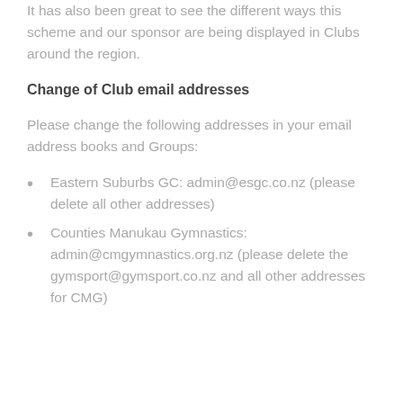It has also been great to see the different ways this scheme and our sponsor are being displayed in Clubs around the region.
Change of Club email addresses
Please change the following addresses in your email address books and Groups:
Eastern Suburbs GC: admin@esgc.co.nz (please delete all other addresses)
Counties Manukau Gymnastics: admin@cmgymnastics.org.nz (please delete the gymsport@gymsport.co.nz and all other addresses for CMG)